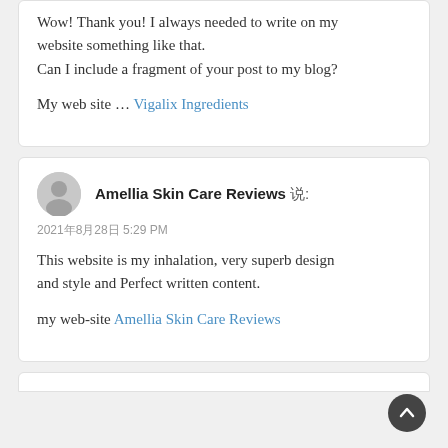Wow! Thank you! I always needed to write on my website something like that.
Can I include a fragment of your post to my blog?

My web site … Vigalix Ingredients
Amellia Skin Care Reviews 说:
2021年8月28日 5:29 PM

This website is my inhalation, very superb design and style and Perfect written content.

my web-site Amellia Skin Care Reviews